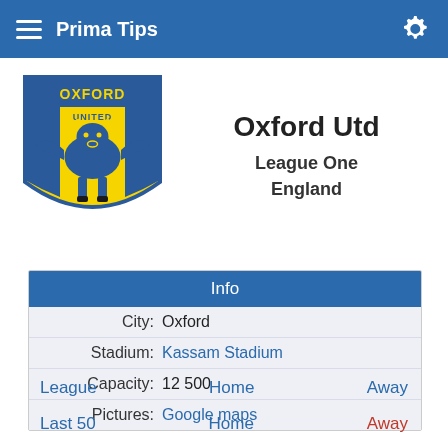Prima Tips
Oxford Utd
League One
England
| Info |
| --- |
| City: | Oxford |
| Stadium: | Kassam Stadium |
| Capacity: | 12 500 |
| Pictures: | Google maps |
League   Home   Away
Last 50   Home   Away